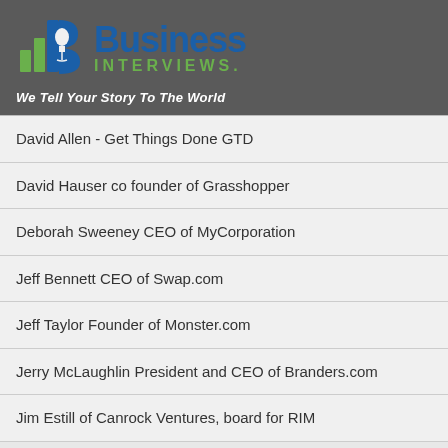[Figure (logo): Business Interviews logo with bar chart icon and microphone, tagline: We Tell Your Story To The World]
David Allen - Get Things Done GTD
David Hauser co founder of Grasshopper
Deborah Sweeney CEO of MyCorporation
Jeff Bennett CEO of Swap.com
Jeff Taylor Founder of Monster.com
Jerry McLaughlin President and CEO of Branders.com
Jim Estill of Canrock Ventures, board for RIM